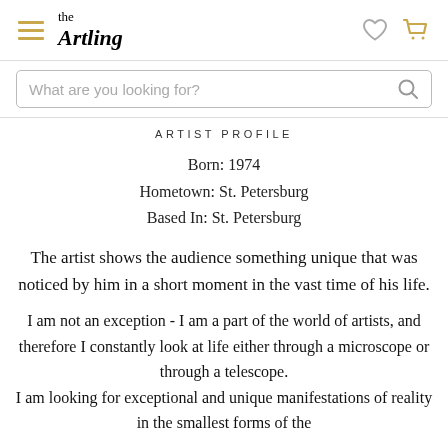the Artling
ARTIST PROFILE
Born: 1974
Hometown: St. Petersburg
Based In: St. Petersburg
The artist shows the audience something unique that was noticed by him in a short moment in the vast time of his life.
I am not an exception - I am a part of the world of artists, and therefore I constantly look at life either through a microscope or through a telescope. I am looking for exceptional and unique manifestations of reality in the smallest forms of the